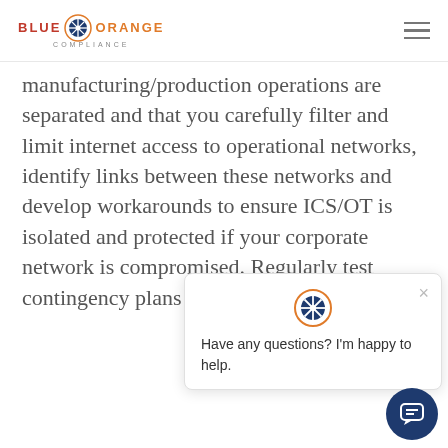BLUE ORANGE COMPLIANCE
manufacturing/production operations are separated and that you carefully filter and limit internet access to operational networks, identify links between these networks and develop workarounds to ensure ICS/OT is isolated and protected if your corporate network is compromised. Regularly test contingency plans such as